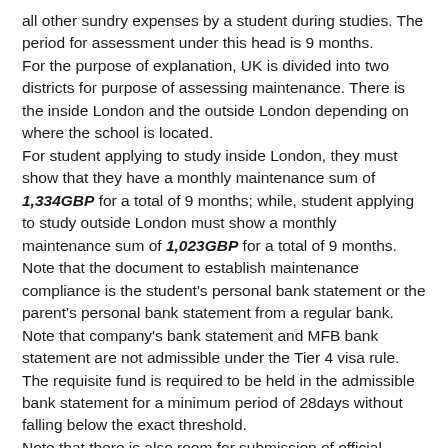all other sundry expenses by a student during studies. The period for assessment under this head is 9 months.
For the purpose of explanation, UK is divided into two districts for purpose of assessing maintenance. There is the inside London and the outside London depending on where the school is located.
For student applying to study inside London, they must show that they have a monthly maintenance sum of 1,334GBP for a total of 9 months; while, student applying to study outside London must show a monthly maintenance sum of 1,023GBP for a total of 9 months.
Note that the document to establish maintenance compliance is the student's personal bank statement or the parent's personal bank statement from a regular bank. Note that company's bank statement and MFB bank statement are not admissible under the Tier 4 visa rule.
The requisite fund is required to be held in the admissible bank statement for a minimum period of 28days without falling below the exact threshold.
Note that there is also room for submission of official financial sponsorship letter as maybe approved by the UKVI.
Credibility interview Stage.
Credibility interview is usually done by an entry clearance officer vide an interview process. This interview could be conducted in the home